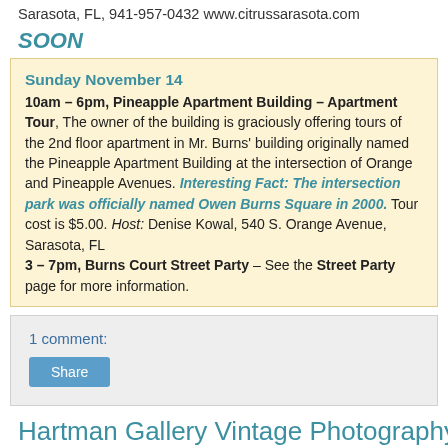Sarasota, FL, 941-957-0432 www.citrussarasota.com
SOON
Sunday November 14
10am – 6pm, Pineapple Apartment Building – Apartment Tour, The owner of the building is graciously offering tours of the 2nd floor apartment in Mr. Burns' building originally named the Pineapple Apartment Building at the intersection of Orange and Pineapple Avenues. Interesting Fact: The intersection park was officially named Owen Burns Square in 2000. Tour cost is $5.00. Host: Denise Kowal, 540 S. Orange Avenue, Sarasota, FL
3 – 7pm, Burns Court Street Party – See the Street Party page for more information.
1 comment:
Share
Hartman Gallery Vintage Photography